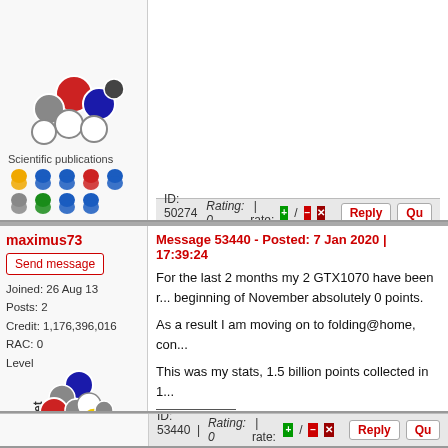[Figure (illustration): Molecular structure illustration (3D molecule model with colored atoms) and scientific publication badge icons for first user (partial, top)]
Scientific publications
ID: 50274 | Rating: 0 | rate: +/- | Reply | Qu
maximus73
Send message
Joined: 26 Aug 13
Posts: 2
Credit: 1,176,396,016
RAC: 0
Level
[Figure (illustration): 3D molecular structure labeled 'Met' with colored atoms and scientific publication badge icons]
Scientific publications
Message 53440 - Posted: 7 Jan 2020 | 17:39:24
For the last 2 months my 2 GTX1070 have been r... beginning of November absolutely 0 points.

As a result I am moving on to folding@home, con...

This was my stats, 1.5 billion points collected in 1...
ID: 53440 | Rating: 0 | rate: +/- | Reply | Qu
JuanManuel
Message 53638 - Posted: 11 Feb 2020 | 0:12:58